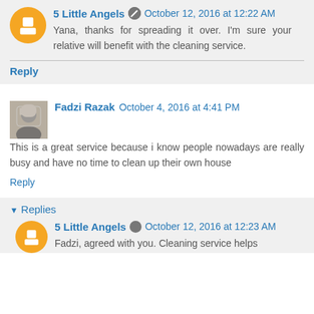5 Little Angels  October 12, 2016 at 12:22 AM
Yana, thanks for spreading it over. I'm sure your relative will benefit with the cleaning service.
Reply
Fadzi Razak  October 4, 2016 at 4:41 PM
This is a great service because i know people nowadays are really busy and have no time to clean up their own house
Reply
▾ Replies
5 Little Angels  October 12, 2016 at 12:23 AM
Fadzi, agreed with you. Cleaning service helps